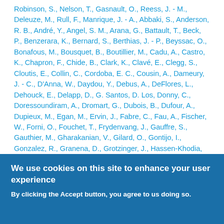Robinson, S., Nelson, T., Gasnault, O., Reess, J. - M., Deleuze, M., Rull, F., Manrique, J. - A., Abbaki, S., Anderson, R. B., André, Y., Angel, S. M., Arana, G., Battault, T., Beck, P., Benzerara, K., Bernard, S., Berthias, J. - P., Beyssac, O., Bonafous, M., Bousquet, B., Boutillier, M., Cadu, A., Castro, K., Chapron, F., Chide, B., Clark, K., Clavé, E., Clegg, S., Cloutis, E., Collin, C., Cordoba, E. C., Cousin, A., Dameury, J. - C., D'Anna, W., Daydou, Y., Debus, A., DeFlores, L., Dehouck, E., Delapp, D., G. Santos, D. Los, Donny, C., Doressoundiram, A., Dromart, G., Dubois, B., Dufour, A., Dupieux, M., Egan, M., Ervin, J., Fabre, C., Fau, A., Fischer, W., Forni, O., Fouchet, T., Frydenvang, J., Gauffre, S., Gauthier, M., Gharakanian, V., Gilard, O., Gontijo, I., Gonzalez, R., Granena, D., Grotzinger, J., Hassen-Khodia, R., Heim, M.
We use cookies on this site to enhance your user experience
By clicking the Accept button, you agree to us doing so.